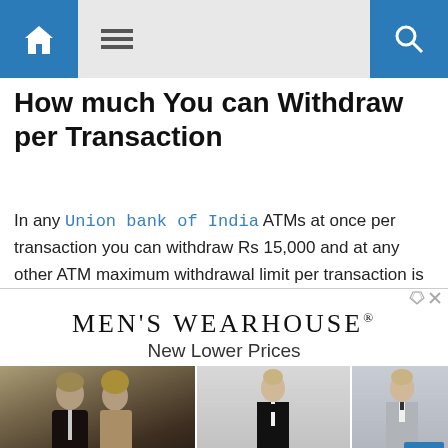Navigation bar with home, menu, and search icons
How much You can Withdraw per Transaction
In any Union bank of India ATMs at once per transaction you can withdraw Rs 15,000 and at any other ATM maximum withdrawal limit per transaction is Rs 10,000.
[Figure (illustration): Men's Wearhouse advertisement showing brand name, 'New Lower Prices' tagline, and photos of people in formal wear including couples and men in suits.]